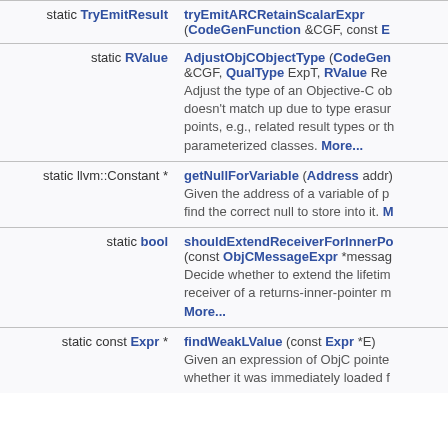| Return type | Function signature and description |
| --- | --- |
| static TryEmitResult | tryEmitARCRetainScalarExpr (CodeGenFunction &CGF, const E... |
| static RValue | AdjustObjCObjectType (CodeGen... &CGF, QualType ExpT, RValue Res...
Adjust the type of an Objective-C ob... doesn't match up due to type erasur... points, e.g., related result types or th... parameterized classes. More... |
| static llvm::Constant * | getNullForVariable (Address addr)...
Given the address of a variable of p... find the correct null to store into it. M... |
| static bool | shouldExtendReceiverForInnerPo... (const ObjCMessageExpr *messag...
Decide whether to extend the lifetim... receiver of a returns-inner-pointer m... More... |
| static const Expr * | findWeakLValue (const Expr *E)
Given an expression of ObjC pointe... whether it was immediately loaded f... |